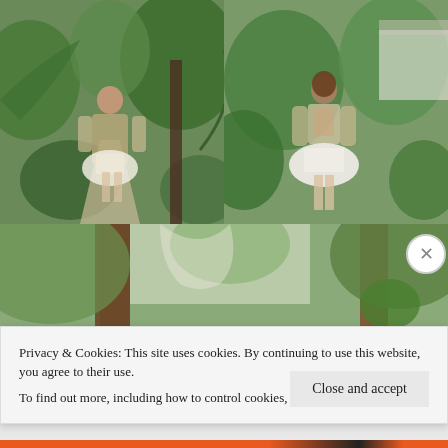[Figure (photo): Two side-by-side photos of a woman wearing a white high-low dress with lace long sleeves in a tropical garden setting. Left photo shows front view walking toward camera, right photo shows back/side view showing open back of the dress.]
[Figure (photo): A partially visible bottom row of photos showing tropical foliage and palm trees, likely continuation of a fashion editorial shoot.]
Privacy & Cookies: This site uses cookies. By continuing to use this website, you agree to their use.
To find out more, including how to control cookies, see here: Cookie Policy
Close and accept